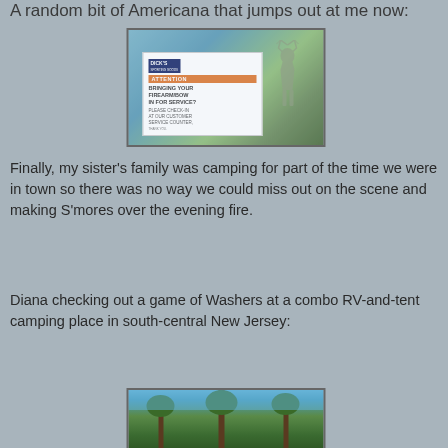A random bit of Americana that jumps out at me now:
[Figure (photo): Photo of a Dick's Sporting Goods store window with a sign that reads: ATTENTION BRINGING YOUR FIREARM/BOW IN FOR SERVICE? PLEASE CHECK-IN AT OUR CUSTOMER SERVICE COUNTER. A deer/elk graphic is visible on the sign.]
Finally, my sister's family was camping for part of the time we were in town so there was no way we could miss out on the scene and making S'mores over the evening fire.
Diana checking out a game of Washers at a combo RV-and-tent camping place in south-central New Jersey:
[Figure (photo): Partial photo showing trees and outdoor camping scene in New Jersey.]